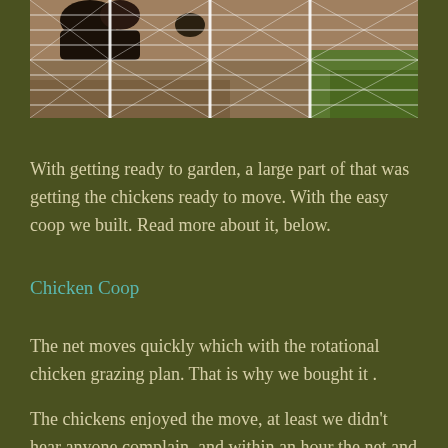[Figure (photo): Partial photo of chickens behind an electric netting fence on dirt/grass ground, cropped at top of page]
With getting ready to garden, a large part of that was getting the chickens ready to move. With the easy coop we built. Read more about it, below.
Chicken Coop
The net moves quickly which with the rotational chicken grazing plan. That is why we bought it .
The chickens enjoyed the move, at least we didn’t hear anyone complain, and within an hour the net and charger was set up and the chickens were in their new home.